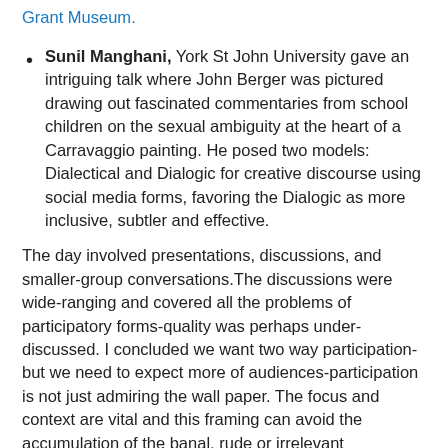Grant Museum.
Sunil Manghani, York St John University gave an intriguing talk where John Berger was pictured drawing out fascinated commentaries from school children on the sexual ambiguity at the heart of a Carravaggio painting. He posed two models: Dialectical and Dialogic for creative discourse using social media forms, favoring the Dialogic as more inclusive, subtler and effective.
The day involved presentations, discussions, and smaller-group conversations.The discussions were wide-ranging and covered all the problems of participatory forms-quality was perhaps under-discussed. I concluded we want two way participation- but we need to expect more of audiences-participation is not just admiring the wall paper. The focus and context are vital and this framing can avoid the accumulation of the banal, rude or irrelevant contribution.
Nicola Osborne has done a brilliant live blog of